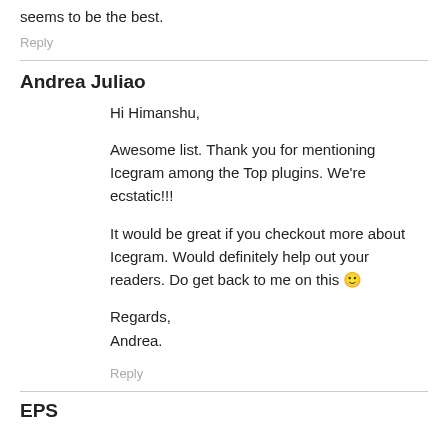seems to be the best.
Reply
Andrea Juliao
Hi Himanshu,
Awesome list. Thank you for mentioning Icegram among the Top plugins. We’re ecstatic!!!
It would be great if you checkout more about Icegram. Would definitely help out your readers. Do get back to me on this 🙂
Regards,
Andrea.
Reply
EPS